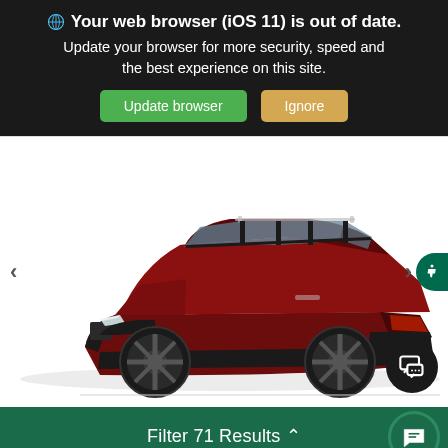🌐 Your web browser (iOS 11) is out of date. Update your browser for more security, speed and the best experience on this site.
[Figure (screenshot): Browser update warning banner with dark background showing globe icon, bold warning text, and two buttons: green 'Update browser' and tan 'Ignore']
[Figure (photo): Side profile view of a dark red/maroon Toyota RAV4 SUV with black wheels and black body cladding on a white background]
Filter 71 Results